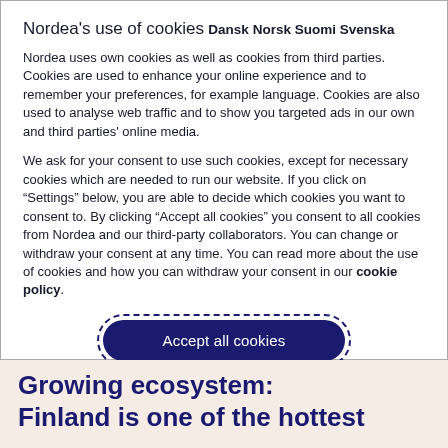Nordea's use of cookies
Dansk Norsk Suomi Svenska
Nordea uses own cookies as well as cookies from third parties. Cookies are used to enhance your online experience and to remember your preferences, for example language. Cookies are also used to analyse web traffic and to show you targeted ads in our own and third parties' online media.
We ask for your consent to use such cookies, except for necessary cookies which are needed to run our website. If you click on “Settings” below, you are able to decide which cookies you want to consent to. By clicking “Accept all cookies” you consent to all cookies from Nordea and our third-party collaborators. You can change or withdraw your consent at any time. You can read more about the use of cookies and how you can withdraw your consent in our cookie policy.
[Figure (other): Accept all cookies button with dashed border outline]
[Figure (other): Settings button with rounded border]
Growing ecosystem: Finland is one of the hottest